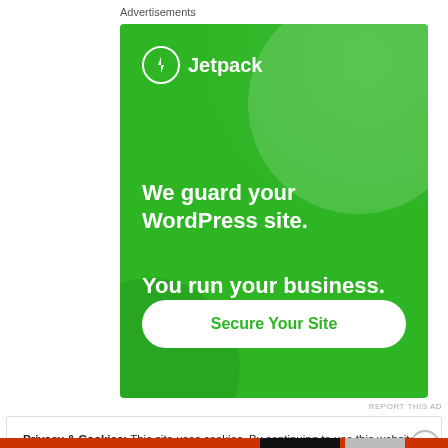Advertisements
[Figure (illustration): Jetpack advertisement banner on green background. Shows Jetpack logo (lightning bolt icon in circle) with text 'We guard your WordPress site. You run your business.' and a 'Secure Your Site' button. Decorative circles/dots in background.]
Privacy & Cookies: This site uses cookies. By continuing to use this website, you agree to their use.
To find out more, including how to control cookies, see here:
Cookie Policy
Close and accept